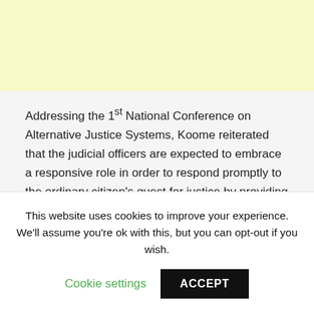[Figure (other): Yellow/cream advertisement banner at the top of the page]
Addressing the 1st National Conference on Alternative Justice Systems, Koome reiterated that the judicial officers are expected to embrace a responsive role in order to respond promptly to the ordinary citizen’s quest for justice by providing a solution to their claims of injustice.
“Our justice system must be responsive and alive to the lived realities of our people and
This website uses cookies to improve your experience. We’ll assume you’re ok with this, but you can opt-out if you wish.
Cookie settings   ACCEPT